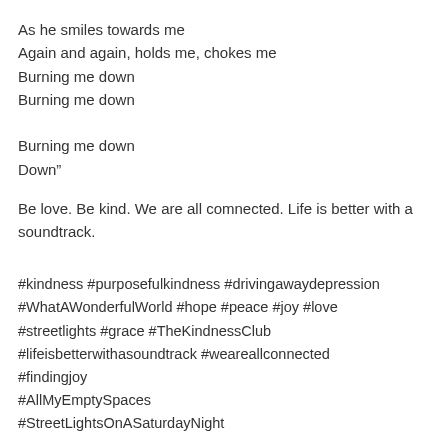As he smiles towards me
Again and again, holds me, chokes me
Burning me down
Burning me down

Burning me down
Down"
Be love. Be kind. We are all comnected. Life is better with a soundtrack.
#kindness #purposefulkindness #drivingawaydepression
#WhatAWonderfulWorld #hope #peace #joy #love
#streetlights #grace #TheKindnessClub
#lifeisbetterwithasoundtrack #weareallconnected
#findingjoy
#AllMyEmptySpaces
#StreetLightsOnASaturdayNight